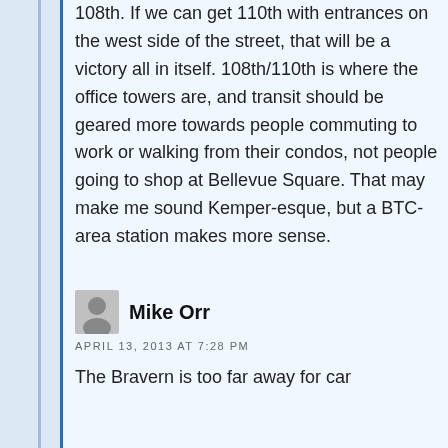108th. If we can get 110th with entrances on the west side of the street, that will be a victory all in itself. 108th/110th is where the office towers are, and transit should be geared more towards people commuting to work or walking from their condos, not people going to shop at Bellevue Square. That may make me sound Kemper-esque, but a BTC-area station makes more sense.
Mike Orr
APRIL 13, 2013 AT 7:28 PM
The Bravern is too far away for car